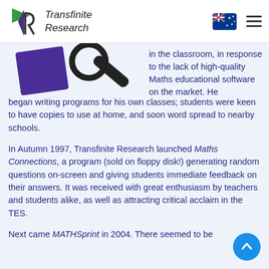Transfinite Research
[Figure (illustration): Transfinite Research logo with green triangle and stylized R, plus partial illustration of purple shape and magnifying glass]
in the classroom, in response to the lack of high-quality Maths educational software on the market. He began writing programs for his own classes; students were keen to have copies to use at home, and soon word spread to nearby schools.
In Autumn 1997, Transfinite Research launched Maths Connections, a program (sold on floppy disk!) generating random questions on-screen and giving students immediate feedback on their answers. It was received with great enthusiasm by teachers and students alike, as well as attracting critical acclaim in the TES.
Next came MATHSprint in 2004. There seemed to be a shortage of quality software having students practice their mental